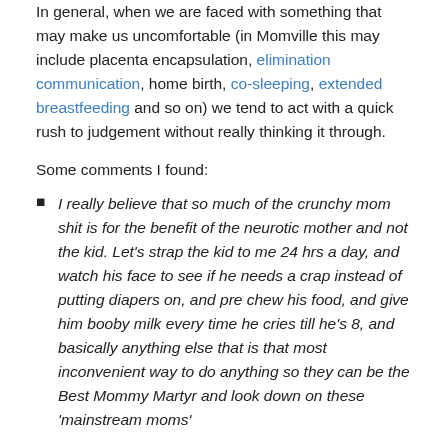In general, when we are faced with something that may make us uncomfortable (in Momville this may include placenta encapsulation, elimination communication, home birth, co-sleeping, extended breastfeeding and so on) we tend to act with a quick rush to judgement without really thinking it through.
Some comments I found:
I really believe that so much of the crunchy mom shit is for the benefit of the neurotic mother and not the kid. Let's strap the kid to me 24 hrs a day, and watch his face to see if he needs a crap instead of putting diapers on, and pre chew his food, and give him booby milk every time he cries till he's 8, and basically anything else that is that most inconvenient way to do anything so they can be the Best Mommy Martyr and look down on those 'mainstream moms'